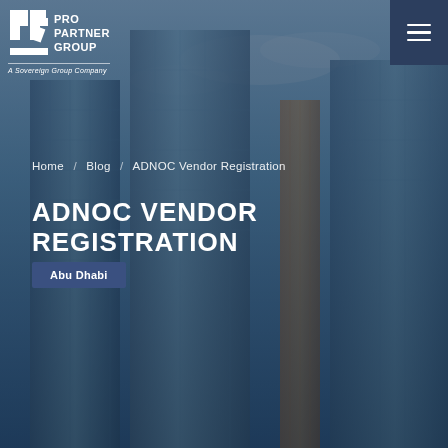[Figure (photo): Background photo of glass skyscrapers viewed from below against a blue sky, with a dark blue overlay. Pro Partner Group logo in top left with white text and icon.]
PRO PARTNER GROUP · A Sovereign Group Company
Home / Blog / ADNOC Vendor Registration
ADNOC VENDOR REGISTRATION
Abu Dhabi